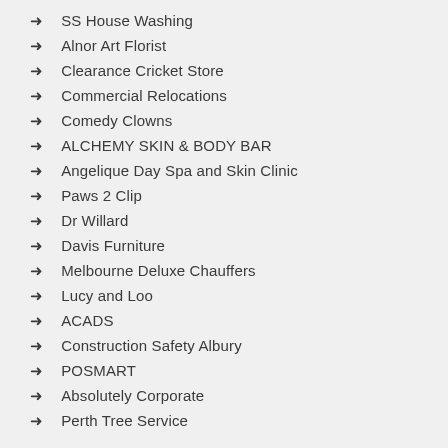SS House Washing
Alnor Art Florist
Clearance Cricket Store
Commercial Relocations
Comedy Clowns
ALCHEMY SKIN & BODY BAR
Angelique Day Spa and Skin Clinic
Paws 2 Clip
Dr Willard
Davis Furniture
Melbourne Deluxe Chauffers
Lucy and Loo
ACADS
Construction Safety Albury
POSMART
Absolutely Corporate
Perth Tree Service